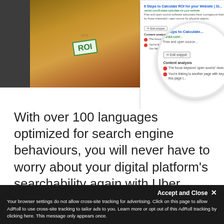[Figure (screenshot): Screenshot of a webpage showing an SEO/Yoast plugin panel with a photo of a person calculating ROI on a calculator with glasses on a wooden desk. A browser panel shows a snippet editor with content analysis items including red dot warnings. A magnifier circle overlays the right side showing zoomed-in content analysis.]
With over 100 languages optimized for search engine behaviours, you will never have to worry about your digital platform’s searchability again with Uber Publisher.
We use cookies and other identifiers to help improve your online experience. By using our website you agree to this. To learn more, including how to change your settings, see our Privacy Policy.
Accept and Close ×
Your browser settings do not allow cross-site tracking for advertising. Click on this page to allow AdRoll to use cross-site tracking to tailor ads to you. Learn more or opt out of this AdRoll tracking by clicking here. This message only appears once.